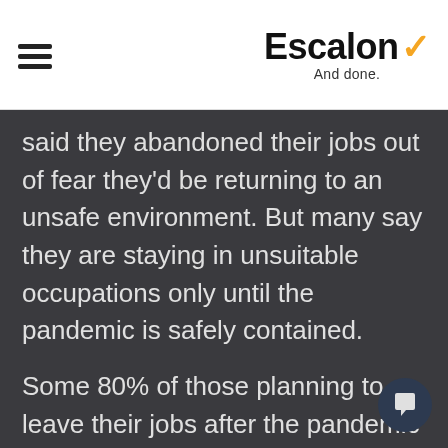Escalon ✓ And done.
said they abandoned their jobs out of fear they'd be returning to an unsafe environment. But many say they are staying in unsuitable occupations only until the pandemic is safely contained.

Some 80% of those planning to leave their jobs after the pandemic cite the desire for career advancement, and 72% say the pandemic has caused them to rethink their skill sets. More than half o